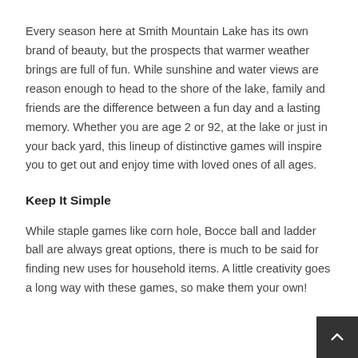Every season here at Smith Mountain Lake has its own brand of beauty, but the prospects that warmer weather brings are full of fun. While sunshine and water views are reason enough to head to the shore of the lake, family and friends are the difference between a fun day and a lasting memory. Whether you are age 2 or 92, at the lake or just in your back yard, this lineup of distinctive games will inspire you to get out and enjoy time with loved ones of all ages.
Keep It Simple
While staple games like corn hole, Bocce ball and ladder ball are always great options, there is much to be said for finding new uses for household items. A little creativity goes a long way with these games, so make them your own!